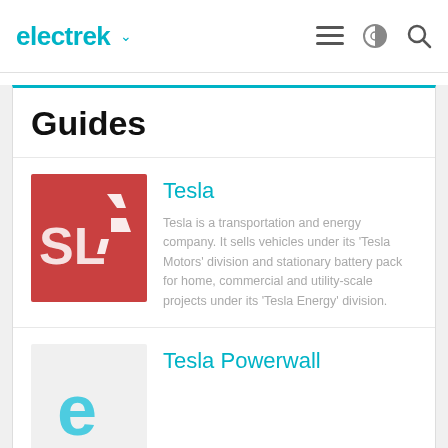electrek
Guides
[Figure (photo): Tesla red sign with 'SL' letters visible, Tesla branding image]
Tesla
Tesla is a transportation and energy company. It sells vehicles under its 'Tesla Motors' division and stationary battery pack for home, commercial and utility-scale projects under its 'Tesla Energy' division.
[Figure (logo): Electrek 'e' logo in light blue on white/gray background]
Tesla Powerwall